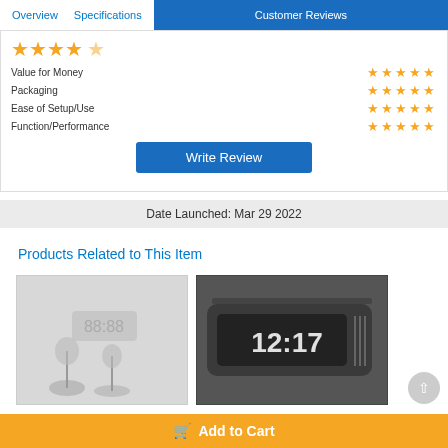Overview | Specifications | Customer Reviews
[Figure (other): Star ratings section with 4.5 stars overall and category ratings (Value for Money, Packaging, Ease of Setup/Use, Function/Performance) each showing 4-5 stars]
Write Review
Date Launched: Mar 29 2022
Products Related to This Item
[Figure (photo): Wall clock product photo showing LED digits on a white wall with decorative plants]
[Figure (photo): Black speaker/alarm clock product showing 12:17 on mirror display]
Add to Cart